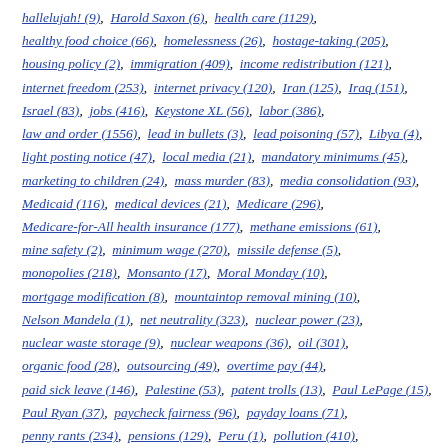hallelujah! (9),  Harold Saxon (6),  health care (1129),  healthy food choice (66),  homelessness (26),  hostage-taking (205),  housing policy (2),  immigration (409),  income redistribution (121),  internet freedom (253),  internet privacy (120),  Iran (125),  Iraq (151),  Israel (83),  jobs (416),  Keystone XL (56),  labor (386),  law and order (1556),  lead in bullets (3),  lead poisoning (57),  Libya (4),  light posting notice (47),  local media (21),  mandatory minimums (45),  marketing to children (24),  mass murder (83),  media consolidation (93),  Medicaid (116),  medical devices (21),  Medicare (296),  Medicare-for-All health insurance (177),  methane emissions (61),  mine safety (2),  minimum wage (270),  missile defense (5),  monopolies (218),  Monsanto (17),  Moral Monday (10),  mortgage modification (8),  mountaintop removal mining (10),  Nelson Mandela (1),  net neutrality (323),  nuclear power (23),  nuclear waste storage (9),  nuclear weapons (36),  oil (301),  organic food (28),  outsourcing (49),  overtime pay (44),  paid sick leave (146),  Palestine (53),  patent trolls (13),  Paul LePage (15),  Paul Ryan (37),  paycheck fairness (96),  payday loans (71),  penny rants (234),  pensions (129),  Peru (1),  pollution (410),